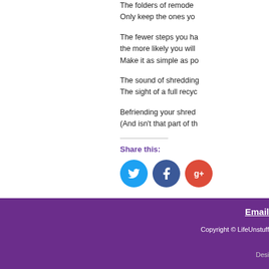The folders of remodel... Only keep the ones you...
The fewer steps you ha... the more likely you will... Make it as simple as po...
The sound of shredding... The sight of a full recyc...
Befriending your shred... (And isn't that part of th...
Share this:
[Figure (infographic): Three social media share buttons: Twitter (blue circle), Facebook (dark blue circle), Google+ (red circle)]
Email | Copyright © LifeUnstuff... | Desi...